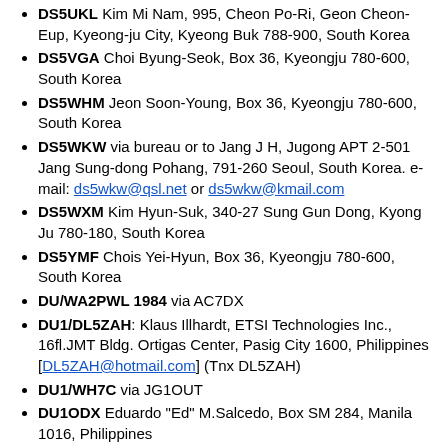DS5UKL Kim Mi Nam, 995, Cheon Po-Ri, Geon Cheon-Eup, Kyeong-ju City, Kyeong Buk 788-900, South Korea
DS5VGA Choi Byung-Seok, Box 36, Kyeongju 780-600, South Korea
DS5WHM Jeon Soon-Young, Box 36, Kyeongju 780-600, South Korea
DS5WKW via bureau or to Jang J H, Jugong APT 2-501 Jang Sung-dong Pohang, 791-260 Seoul, South Korea. e-mail: ds5wkw@qsl.net or ds5wkw@kmail.com
DS5WXM Kim Hyun-Suk, 340-27 Sung Gun Dong, Kyong Ju 780-180, South Korea
DS5YMF Chois Yei-Hyun, Box 36, Kyeongju 780-600, South Korea
DU/WA2PWL 1984 via AC7DX
DU1/DL5ZAH: Klaus Illhardt, ETSI Technologies Inc., 16fl.JMT Bldg. Ortigas Center, Pasig City 1600, Philippines [DL5ZAH@hotmail.com] (Tnx DL5ZAH)
DU1/WH7C via JG1OUT
DU1ODX Eduardo "Ed" M.Salcedo, Box SM 284, Manila 1016, Philippines
DU1SAN via bureau or to Serafin A Nepomuceno, Box 3000 QCCPO,1170 Quezon Citr, Metro Manila, Philippines
DU3BBY Robert V del Rosario, 38-7 Taguete Ave, Carmenville, Angeles City, Philippines
DU3NHK Noboru Kobayakawa, 650 Pinatubo St